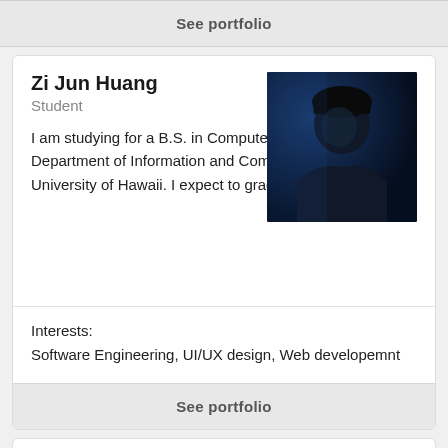See portfolio
Zi Jun Huang
Student
[Figure (photo): Profile photo of Zi Jun Huang - dark portrait with blue lighting]
I am studying for a B.S. in Computer Science in the Department of Information and Computer Sciences at the University of Hawaii. I expect to graduate in Spring, 2022.
Interests:
Software Engineering, UI/UX design, Web developemnt
See portfolio
Michael Hui
Student
[Figure (photo): Profile photo of Michael Hui - person outdoors with sky background]